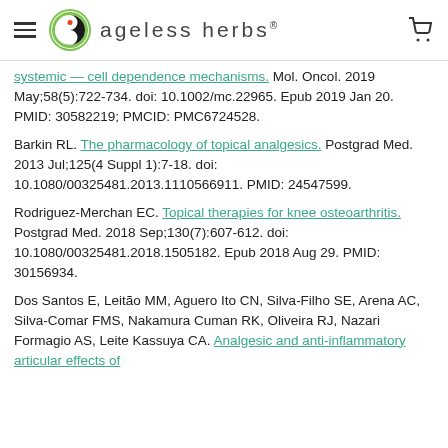ageless herbs
systemic... [link truncated] Mol. Oncol. 2019 May;58(5):722-734. doi: 10.1002/mc.22965. Epub 2019 Jan 20. PMID: 30582219; PMCID: PMC6724528.
Barkin RL. The pharmacology of topical analgesics. Postgrad Med. 2013 Jul;125(4 Suppl 1):7-18. doi: 10.1080/00325481.2013.1110566911. PMID: 24547599.
Rodriguez-Merchan EC. Topical therapies for knee osteoarthritis. Postgrad Med. 2018 Sep;130(7):607-612. doi: 10.1080/00325481.2018.1505182. Epub 2018 Aug 29. PMID: 30156934.
Dos Santos E, Leitão MM, Aguero Ito CN, Silva-Filho SE, Arena AC, Silva-Comar FMS, Nakamura Cuman RK, Oliveira RJ, Nazari Formagio AS, Leite Kassuya CA. Analgesic and anti-inflammatory articular effects of